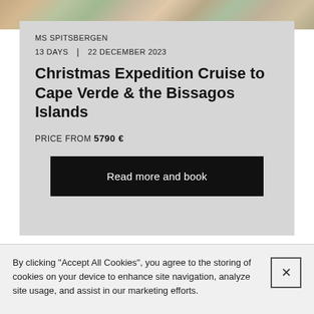[Figure (photo): Colorful flowers and market goods, cropped at top]
MS SPITSBERGEN
13 DAYS | 22 DECEMBER 2023
Christmas Expedition Cruise to Cape Verde & the Bissagos Islands
PRICE FROM 5790 €
Read more and book
[Figure (photo): Second cruise card photo, partially visible]
By clicking "Accept All Cookies", you agree to the storing of cookies on your device to enhance site navigation, analyze site usage, and assist in our marketing efforts.